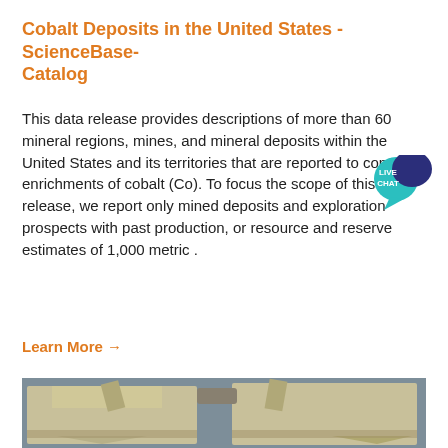Cobalt Deposits in the United States - ScienceBase-Catalog
This data release provides descriptions of more than 60 mineral regions, mines, and mineral deposits within the United States and its territories that are reported to contain enrichments of cobalt (Co). To focus the scope of this data release, we report only mined deposits and exploration prospects with past production, or resource and reserve estimates of 1,000 metric .
Learn More →
[Figure (photo): Industrial dust collection or filtration equipment units — large beige/tan colored industrial machines with hoppers and ductwork, photographed inside a factory or industrial building.]